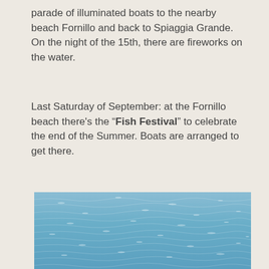parade of illuminated boats to the nearby beach Fornillo and back to Spiaggia Grande. On the night of the 15th, there are fireworks on the water.
Last Saturday of September: at the Fornillo beach there's the "Fish Festival" to celebrate the end of the Summer. Boats are arranged to get there.
[Figure (photo): A close-up photo of blue sea water with gentle waves and light reflections on the surface.]